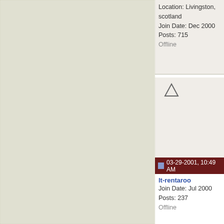Location: Livingston, scotland
Join Date: Dec 2000
Posts: 715
Offline
Tyson or Ali? (I mean this in an enlightened, curious way of course, not aggressively :)
03-29-2001, 10:49 AM
lt-rentaroo
Join Date: Jul 2000
Posts: 237
Offline
Hello,

Ok, I'll humor this question a bit. Hmmm, Mr. Lee did incorporate some boxing concepts when he developed Jeet Kun Do. Most notable was the incorportation of traditional boxing footwork. Mr. Lee felt that fixed stances were not the way to go and so adopted boxing's less fixed and more "mobile" (for lack of a better term) footwork.

Powerwise, I'm thinking that Mr. Tyson, if he connected a punch, would probably send Mr. Lee into another dimension. Mr. Ali could most likely do the same. Jeet Kun Do focused on not so much the power, but...